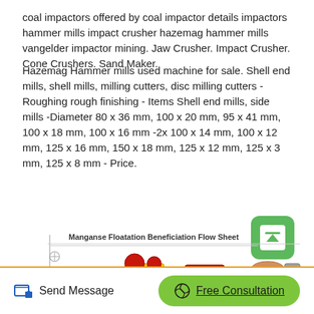coal impactors offered by coal impactor details impactors hammer mills impact crusher hazemag hammer mills vangelder impactor mining. Jaw Crusher. Impact Crusher. Cone Crushers. Sand Maker.
Hazemag Hammer mills used machine for sale. Shell end mills, shell mills, milling cutters, disc milling cutters -Roughing rough finishing - Items Shell end mills, side mills -Diameter 80 x 36 mm, 100 x 20 mm, 95 x 41 mm, 100 x 18 mm, 100 x 16 mm -2x 100 x 14 mm, 100 x 12 mm, 125 x 16 mm, 150 x 18 mm, 125 x 12 mm, 125 x 3 mm, 125 x 8 mm - Price.
[Figure (flowchart): Manganse Floatation Beneficiation Flow Sheet showing mining equipment process flow: Hopper → Jaw Crusher → Fine jaw crusher → Vibrating feeder → (second row with additional equipment)]
Send Message    Free Consultation